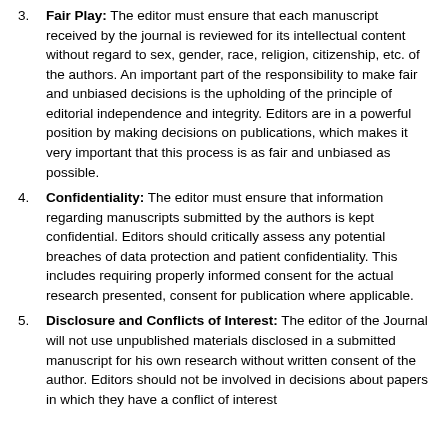Fair Play: The editor must ensure that each manuscript received by the journal is reviewed for its intellectual content without regard to sex, gender, race, religion, citizenship, etc. of the authors. An important part of the responsibility to make fair and unbiased decisions is the upholding of the principle of editorial independence and integrity. Editors are in a powerful position by making decisions on publications, which makes it very important that this process is as fair and unbiased as possible.
Confidentiality: The editor must ensure that information regarding manuscripts submitted by the authors is kept confidential. Editors should critically assess any potential breaches of data protection and patient confidentiality. This includes requiring properly informed consent for the actual research presented, consent for publication where applicable.
Disclosure and Conflicts of Interest: The editor of the Journal will not use unpublished materials disclosed in a submitted manuscript for his own research without written consent of the author. Editors should not be involved in decisions about papers in which they have a conflict of interest